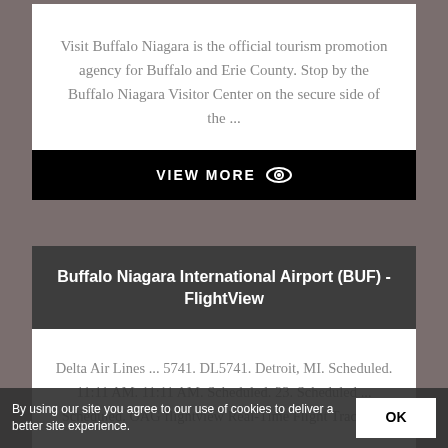Visit Buffalo Niagara is the official tourism promotion agency for Buffalo and Erie County. Stop by the Buffalo Niagara Visitor Center on the secure side of the ...
VIEW MORE
Buffalo Niagara International Airport (BUF) - FlightView
Delta Air Lines ... 5741. DL5741. Detroit, MI. Scheduled. 11:11 AM. 11:11 AM. Scheduled. 23. Scheduled ... Scheduled. OAG flightview Real-Time Flight Tracking.
By using our site you agree to our use of cookies to deliver a better site experience.